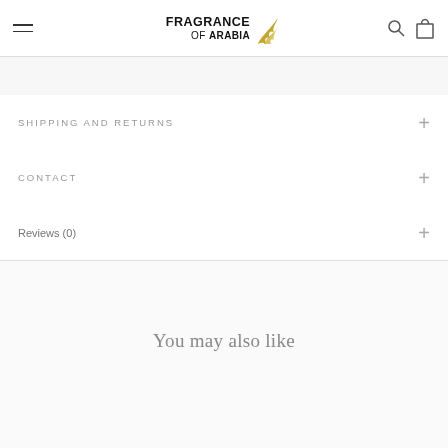Fragrance of Arabia — navigation header with hamburger menu, logo, search and bag icons
SHIPPING AND RETURNS
CONTACT
Reviews (0)
You may also like